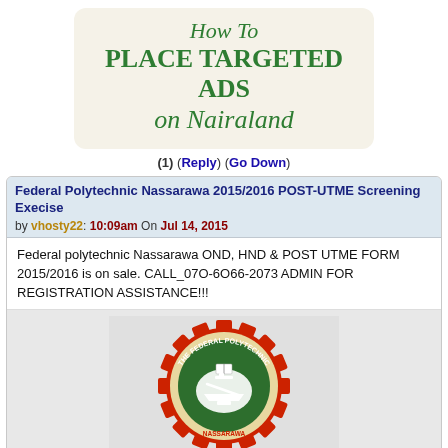[Figure (infographic): Advertisement banner with rounded beige background: 'How To PLACE TARGETED ADS on Nairaland' in green serif text]
(1) (Reply) (Go Down)
Federal Polytechnic Nassarawa 2015/2016 POST-UTME Screening Execise by vhosty22: 10:09am On Jul 14, 2015
Federal polytechnic Nassarawa OND, HND & POST UTME FORM 2015/2016 is on sale. CALL_07O-6O66-2073 ADMIN FOR REGISTRATION ASSISTANCE!!!
[Figure (logo): The Federal Polytechnic circular logo with red gear border, green center, white tools and book symbols]